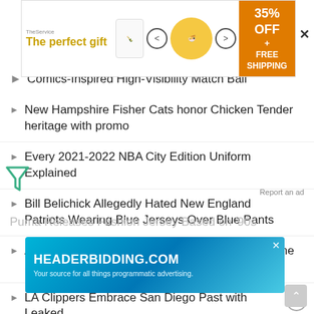[Figure (screenshot): Top advertisement banner for 'The perfect gift' with golden text, bowl image, navigation arrows, and orange '35% OFF + FREE SHIPPING' badge]
Comics-Inspired High-Visibility Match Ball
New Hampshire Fisher Cats honor Chicken Tender heritage with promo
Every 2021-2022 NBA City Edition Uniform Explained
Bill Belichick Allegedly Hated New England Patriots Wearing Blue Jerseys Over Blue Pants
Auburn To Wear Orange Facemasks For First Time Since 1983 Season Against Ole Miss
LA Clippers Embrace San Diego Past with Leaked City Edition Jersey
[Figure (screenshot): Bottom advertisement for HEADERBIDDING.COM - 'Your source for all things programmatic advertising.' with teal/blue gradient background]
Puma Releases Fashion Jersey Based on '90s...